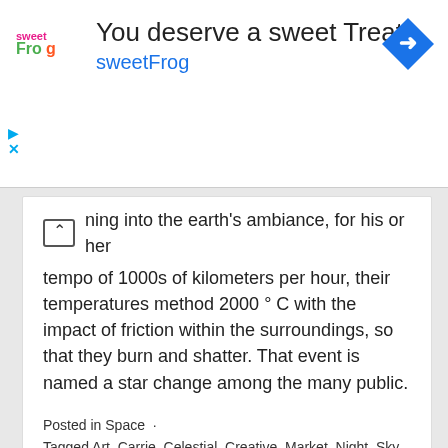[Figure (other): sweetFrog ad banner with logo, heading 'You deserve a sweet Treat', subtitle 'sweetFrog', and a blue diamond navigation icon]
ning into the earth's ambiance, for his or her tempo of 1000s of kilometers per hour, their temperatures method 2000 ° C with the impact of friction within the surroundings, so that they burn and shatter. That event is named a star change among the many public.
Posted in Space  ·
Tagged Art, Carrie, Celestial, Creative, Market, Night, Sky, space, space design, space galaxy, space illustration, space stars, space tattoos, space wallpaper, Starry, Stephens